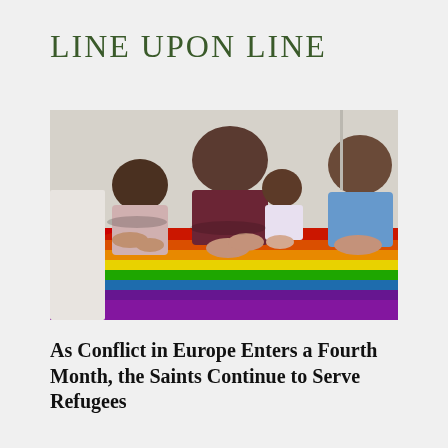LINE UPON LINE
[Figure (photo): A family of four — a woman with dark hair, a man in a blue shirt, and two young girls — praying together with hands clasped, leaning over a colorful rainbow-striped cloth or altar cover.]
As Conflict in Europe Enters a Fourth Month, the Saints Continue to Serve Refugees